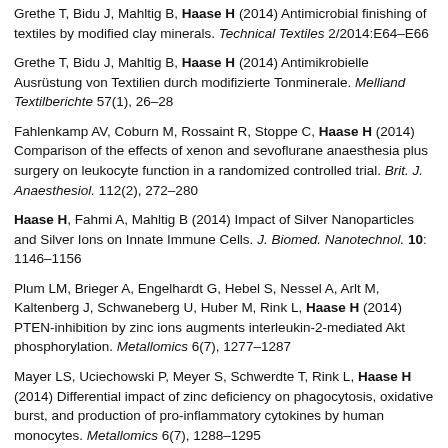Grethe T, Bidu J, Mahltig B, Haase H (2014) Antimicrobial finishing of textiles by modified clay minerals. Technical Textiles 2/2014:E64–E66
Grethe T, Bidu J, Mahltig B, Haase H (2014) Antimikrobielle Ausrüstung von Textilien durch modifizierte Tonminerale. Melliand Textilberichte 57(1), 26–28
Fahlenkamp AV, Coburn M, Rossaint R, Stoppe C, Haase H (2014) Comparison of the effects of xenon and sevoflurane anaesthesia plus surgery on leukocyte function in a randomized controlled trial. Brit. J. Anaesthesiol. 112(2), 272–280
Haase H, Fahmi A, Mahltig B (2014) Impact of Silver Nanoparticles and Silver Ions on Innate Immune Cells. J. Biomed. Nanotechnol. 10: 1146–1156
Plum LM, Brieger A, Engelhardt G, Hebel S, Nessel A, Arlt M, Kaltenberg J, Schwaneberg U, Huber M, Rink L, Haase H (2014) PTEN-inhibition by zinc ions augments interleukin-2-mediated Akt phosphorylation. Metallomics 6(7), 1277–1287
Mayer LS, Uciechowski P, Meyer S, Schwerdte T, Rink L, Haase H (2014) Differential impact of zinc deficiency on phagocytosis, oxidative burst, and production of pro-inflammatory cytokines by human monocytes. Metallomics 6(7), 1288–1295
Fahlenkamp AV, Coburn M, de Prada A, Gereitzig N, Beyer C, Haase H, Rossaint R, Gempt J, Ryang Y-M (2014) Expression